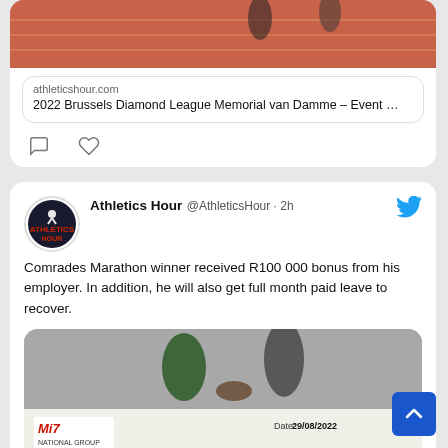[Figure (screenshot): Top portion of a tweet card showing a track photo and a link preview for 'athleticshour.com' with title '2022 Brussels Diamond League Memorial van Damme – Event …'. Comment and like icons visible below.]
[Figure (screenshot): Second tweet card from Athletics Hour (@AthleticsHour · 2h) with blue Twitter bird icon. Text reads: 'Comrades Marathon winner received R100 000 bonus from his employer. In addition, he will also get full month paid leave to recover.' Below is a photo of two people holding a large cheque from MiZ National Group dated 29/08/2022, payable to TETE DIJANA for R100 000.00, reading ONE HUNDRED THOUSAND RANDS ONLY, with text CONGRATULATIONS TO THE COMRADES...]